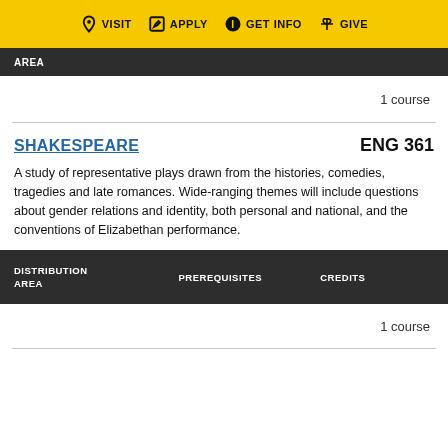VISIT  APPLY  GET INFO  GIVE
| DISTRIBUTION AREA | PREREQUISITES | CREDITS |
| --- | --- | --- |
|  |  | 1 course |
SHAKESPEARE  ENG 361
A study of representative plays drawn from the histories, comedies, tragedies and late romances. Wide-ranging themes will include questions about gender relations and identity, both personal and national, and the conventions of Elizabethan performance.
| DISTRIBUTION AREA | PREREQUISITES | CREDITS |
| --- | --- | --- |
|  |  | 1 course |